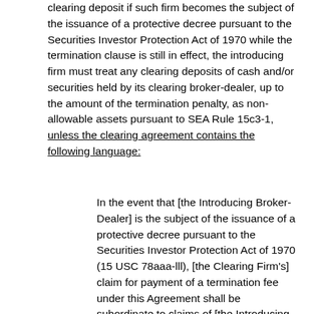clearing deposit if such firm becomes the subject of the issuance of a protective decree pursuant to the Securities Investor Protection Act of 1970 while the termination clause is still in effect, the introducing firm must treat any clearing deposits of cash and/or securities held by its clearing broker-dealer, up to the amount of the termination penalty, as non-allowable assets pursuant to SEA Rule 15c3-1, unless the clearing agreement contains the following language:
In the event that [the Introducing Broker-Dealer] is the subject of the issuance of a protective decree pursuant to the Securities Investor Protection Act of 1970 (15 USC 78aaa-lll), [the Clearing Firm's] claim for payment of a termination fee under this Agreement shall be subordinate to claims of [the Introducing Broker's] customers that